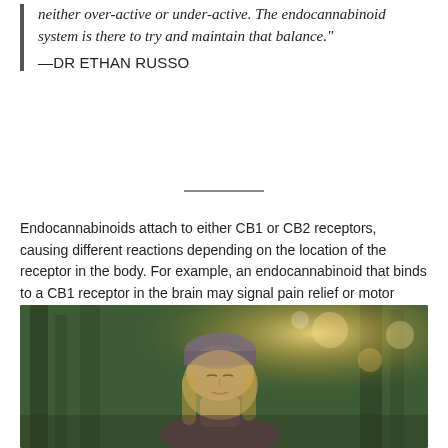neither over-active or under-active. The endocannabinoid system is there to try and maintain that balance." —DR ETHAN RUSSO
Endocannabinoids attach to either CB1 or CB2 receptors, causing different reactions depending on the location of the receptor in the body. For example, an endocannabinoid that binds to a CB1 receptor in the brain may signal pain relief or motor control, whereas one that binds to a CB2 receptor in the heart may signal a protective anti-inflammation response.
[Figure (photo): Woman with blonde hair wearing a knit hat, eyes closed, facing upward in a sunlit forest setting with bokeh light effects]